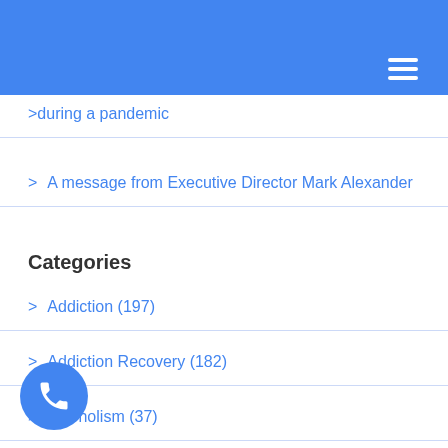during a pandemic
A message from Executive Director Mark Alexander
Categories
Addiction (197)
Addiction Recovery (182)
Alcoholism (37)
ts (4)